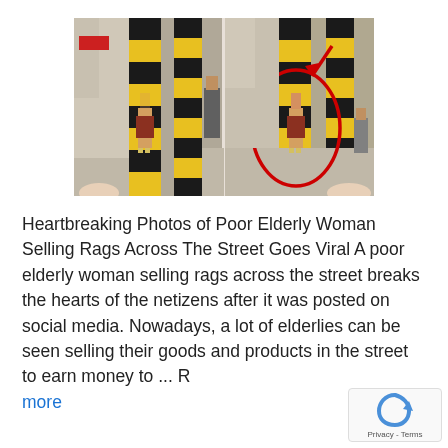[Figure (photo): Two side-by-side street photos showing an elderly woman selling rags near large yellow-and-black striped pillars. The right photo has a red arrow pointing down and a red oval circle highlighting the elderly woman.]
Heartbreaking Photos of Poor Elderly Woman Selling Rags Across The Street Goes Viral A poor elderly woman selling rags across the street breaks the hearts of the netizens after it was posted on social media. Nowadays, a lot of elderlies can be seen selling their goods and products in the street to earn money to ... Read more
more